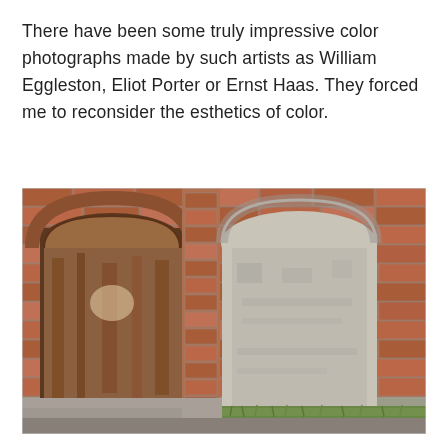There have been some truly impressive color photographs made by such artists as William Eggleston, Eliot Porter or Ernst Haas. They forced me to reconsider the esthetics of color.
[Figure (photo): Color photograph of a red brick wall featuring two arched doorways: on the left, an open rusted metal door under a brick arch; on the right, a bricked-up arched doorway painted/whitewashed gray. Concrete ground and grass visible at bottom.]